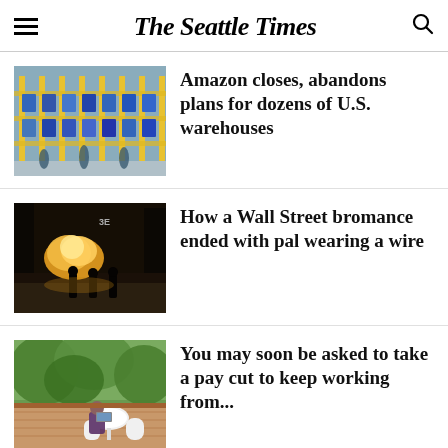The Seattle Times
[Figure (photo): Amazon warehouse interior with yellow shelving units, blue bins, and workers]
Amazon closes, abandons plans for dozens of U.S. warehouses
[Figure (photo): Silhouette of people walking near flames at night on a street]
How a Wall Street bromance ended with pal wearing a wire
[Figure (photo): Person sitting at outdoor deck table with laptop, surrounded by trees]
You may soon be asked to take a pay cut to keep working from...